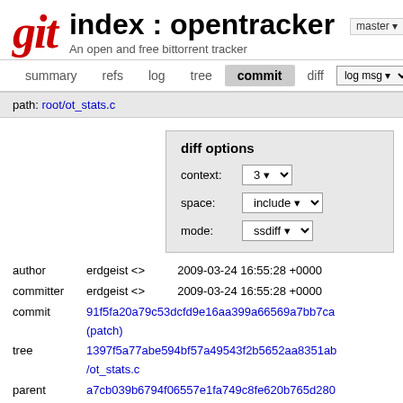git  index : opentracker  master  An open and free bittorrent tracker
summary  refs  log  tree  commit  diff  log msg
path: root/ot_stats.c
diff options
context: 3
space: include
mode: ssdiff
author  erdgeist <>  2009-03-24 16:55:28 +0000
committer  erdgeist <>  2009-03-24 16:55:28 +0000
commit  91f5fa20a79c53dcfd9e16aa399a66569a7bb7ca (patch)
tree  1397f5a77abe594bf57a49543f2b5652aa8351ab /ot_stats.c
parent  a7cb039b6794f06557e1fa749c8fe620b765d280 (diff)